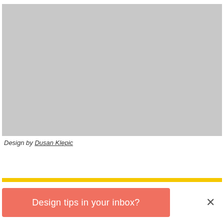[Figure (illustration): War Games Con XII illustration: a skull and dripping red banner logo on a dark background, with a crowd scene visible in the greyed background]
Design by Dusan Klepic
[Figure (other): Yellow horizontal bar separator]
Design tips in your inbox?
×